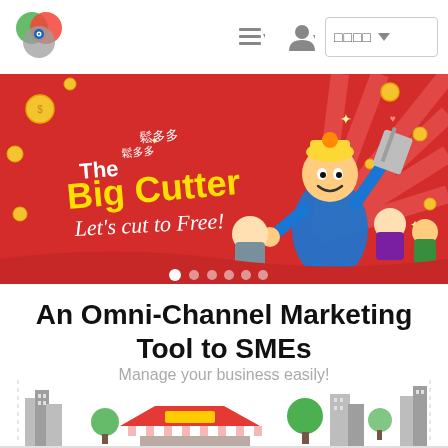[Figure (logo): Circular logo with green, red, and blue overlapping circles with a small blue dot in the center]
[Figure (screenshot): Navigation bar with hamburger menu icon with dropdown arrow, user/person icon with dropdown arrow, and a language selector showing CJK characters with dropdown arrow]
[Figure (illustration): Red banner/hero image showing cartoon characters in Chinese-style costumes with text 'The Big Cutter Let's cut to Free!' in yellow and white. Carousel dots at the bottom.]
An Omni-Channel Marketing Tool to SMEs
Manage your business easily!
[Figure (illustration): Partial bottom cityscape illustration showing buildings in gray and a colorful market stall with striped awning in red/orange/white, with green trees and a dotted border frame]